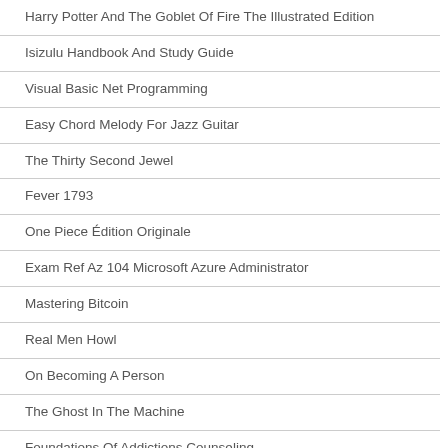Harry Potter And The Goblet Of Fire The Illustrated Edition
Isizulu Handbook And Study Guide
Visual Basic Net Programming
Easy Chord Melody For Jazz Guitar
The Thirty Second Jewel
Fever 1793
One Piece Édition Originale
Exam Ref Az 104 Microsoft Azure Administrator
Mastering Bitcoin
Real Men Howl
On Becoming A Person
The Ghost In The Machine
Foundations Of Addictions Counseling
Handbook Of In Vitro Fertilization